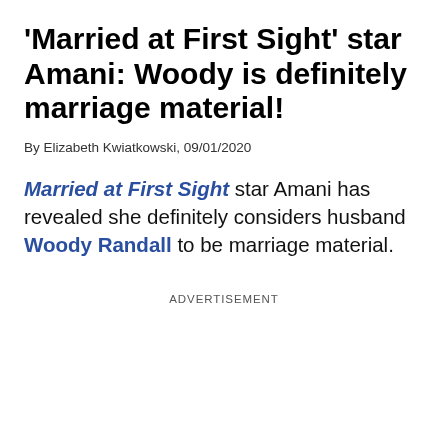'Married at First Sight' star Amani: Woody is definitely marriage material!
By Elizabeth Kwiatkowski, 09/01/2020
Married at First Sight star Amani has revealed she definitely considers husband Woody Randall to be marriage material.
ADVERTISEMENT